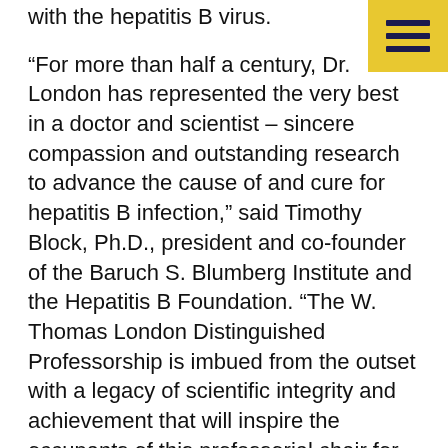with the hepatitis B virus.
“For more than half a century, Dr. London has represented the very best in a doctor and scientist – sincere compassion and outstanding research to advance the cause of and cure for hepatitis B infection,” said Timothy Block, Ph.D., president and co-founder of the Baruch S. Blumberg Institute and the Hepatitis B Foundation. “The W. Thomas London Distinguished Professorship is imbued from the outset with a legacy of scientific integrity and achievement that will inspire the occupants of this professorial chair for generations to come.”
Serving as vice president of the Hepatitis B Foundation Board of Directors, Dr. London is an internationally renowned physician-scientist who has dedicated his entire professional career to the study of hepatitis B and to the care of those who